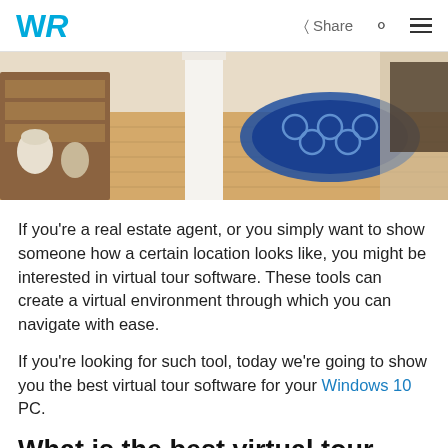WR | Share [search] [menu]
[Figure (photo): Interior room photo showing a hallway with light hardwood floors, white pillar, wooden shelving on the left with decorative items, and a blue patterned area rug in the background.]
If you’re a real estate agent, or you simply want to show someone how a certain location looks like, you might be interested in virtual tour software. These tools can create a virtual environment through which you can navigate with ease.
If you’re looking for such tool, today we’re going to show you the best virtual tour software for your Windows 10 PC.
What is the best virtual tour software for Windows 10?